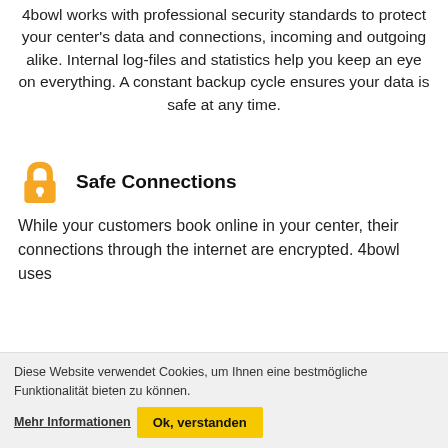4bowl works with professional security standards to protect your center's data and connections, incoming and outgoing alike. Internal log-files and statistics help you keep an eye on everything. A constant backup cycle ensures your data is safe at any time.
Safe Connections
While your customers book online in your center, their connections through the internet are encrypted. 4bowl uses
Diese Website verwendet Cookies, um Ihnen eine bestmögliche Funktionalität bieten zu können. Mehr Informationen Ok, verstanden